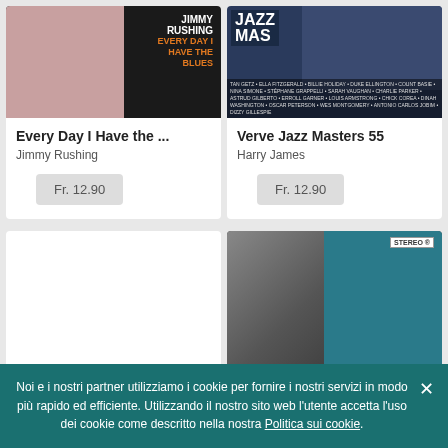[Figure (illustration): Album cover for Jimmy Rushing - Every Day I Have the Blues, dark background with pink left side, orange text]
Every Day I Have the ...
Jimmy Rushing
Fr. 12.90
[Figure (illustration): Album cover for Verve Jazz Masters 55 by Harry James, dark blue background with band photo and artist name list]
Verve Jazz Masters 55
Harry James
Fr. 12.90
[Figure (photo): Blank white card placeholder for bottom left album]
[Figure (photo): Album cover for Julia Lee, black and white portrait of woman with teal background, STEREO badge, gold italic text JULIA LEE]
Noi e i nostri partner utilizziamo i cookie per fornire i nostri servizi in modo più rapido ed efficiente. Utilizzando il nostro sito web l'utente accetta l'uso dei cookie come descritto nella nostra Politica sui cookie.